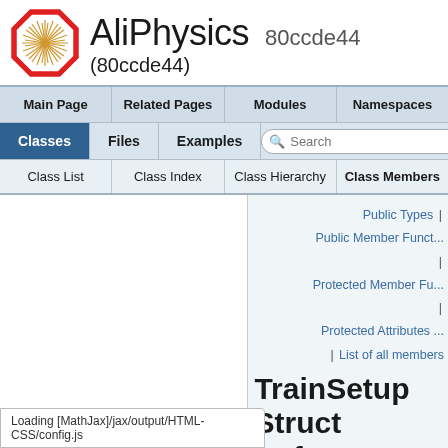[Figure (logo): AliPhysics logo - red octagon with starburst pattern]
AliPhysics 80ccde44 (80ccde44)
Main Page | Related Pages | Modules | Namespaces
Classes | Files | Examples | Search
Class List | Class Index | Class Hierarchy | Class Members
Public Types | Public Member Funct... | Protected Member Fu... | Protected Attributes | List of all members
TrainSetup Struct Reference abstract